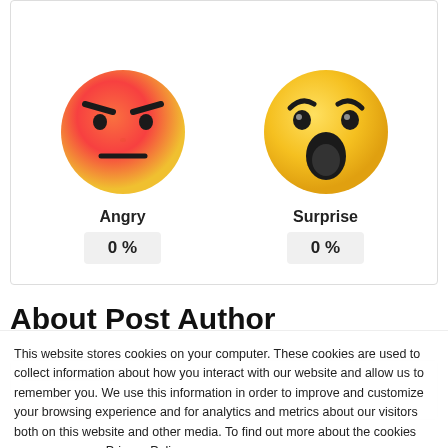[Figure (illustration): Two emoji icons side by side: an angry face (red-orange gradient with furrowed brows and frown) labeled 'Angry' with '0 %' below, and a surprised/wow face (yellow with wide open mouth and raised eyebrows) labeled 'Surprise' with '0 %' below.]
About Post Author
This website stores cookies on your computer. These cookies are used to collect information about how you interact with our website and allow us to remember you. We use this information in order to improve and customize your browsing experience and for analytics and metrics about our visitors both on this website and other media. To find out more about the cookies we use, see our Privacy Policy.